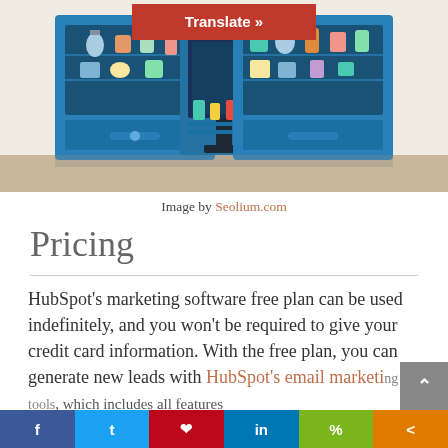[Figure (illustration): Illustrated store/market scene with blue display cabinets, product shelves with jars and items, and a monitor/screen in the center. A red 'Translate »' banner overlays the center top.]
Image by Seolium.com
Pricing
HubSpot's marketing software free plan can be used indefinitely, and you won't be required to give your credit card information. With the free plan, you can generate new leads with HubSpot's email marketing tools, which includes all features
f  t  p  in  %  <